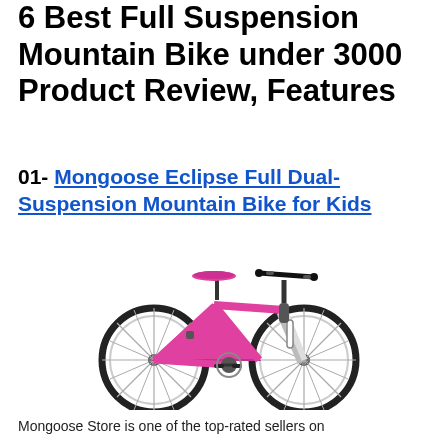6 Best Full Suspension Mountain Bike under 3000 Product Review, Features
01- Mongoose Eclipse Full Dual-Suspension Mountain Bike for Kids
[Figure (photo): Pink Mongoose Eclipse Full Dual-Suspension Mountain Bike for Kids on a white background]
Mongoose Store is one of the top-rated sellers on